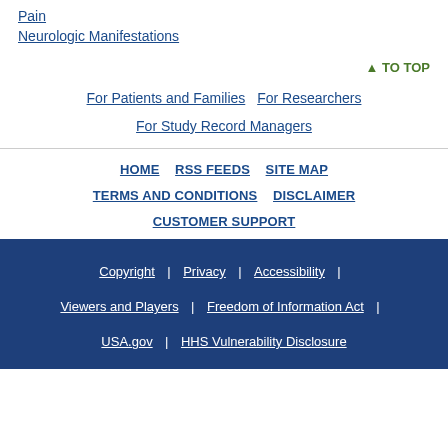Pain
Neurologic Manifestations
▲ TO TOP
For Patients and Families | For Researchers | For Study Record Managers
HOME | RSS FEEDS | SITE MAP | TERMS AND CONDITIONS | DISCLAIMER | CUSTOMER SUPPORT
Copyright | Privacy | Accessibility | Viewers and Players | Freedom of Information Act | USA.gov | HHS Vulnerability Disclosure